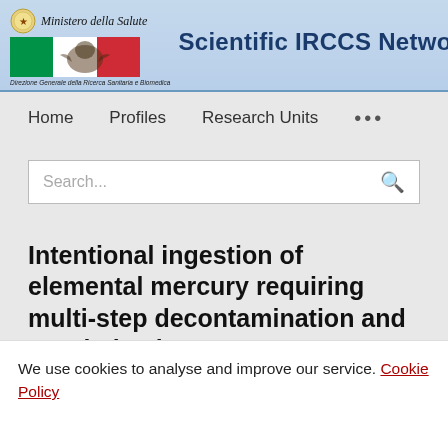Scientific IRCCS Network — Ministero della Salute — Direzione Generale della Ricerca Sanitaria e Biomedica
Home   Profiles   Research Units   ...
Search...
Intentional ingestion of elemental mercury requiring multi-step decontamination and prophylactic
We use cookies to analyse and improve our service. Cookie Policy